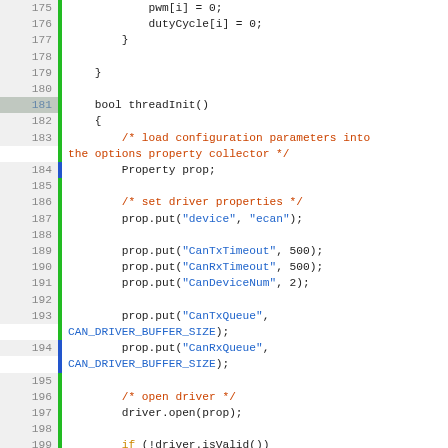[Figure (screenshot): Source code editor showing C++ code lines 175-205 with line numbers on left, green vertical bar indicators, and syntax highlighting including orange keywords, blue strings, and red comments.]